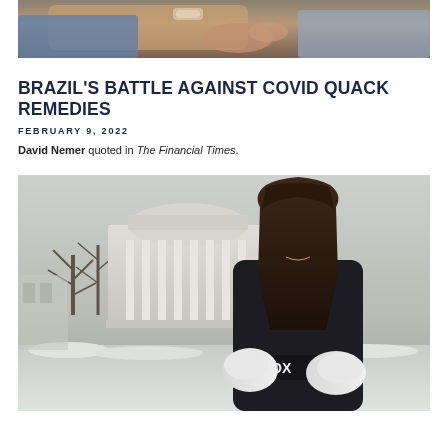[Figure (photo): Close-up photo of a person receiving a blood pressure or medical check, partially visible at top of page]
BRAZIL'S BATTLE AGAINST COVID QUACK REMEDIES
FEBRUARY 9, 2022
David Nemer quoted in The Financial Times.
[Figure (photo): Young woman with long dark hair smiling, holding boxing gloves, standing in front of a university building with columns in a snowy winter setting]